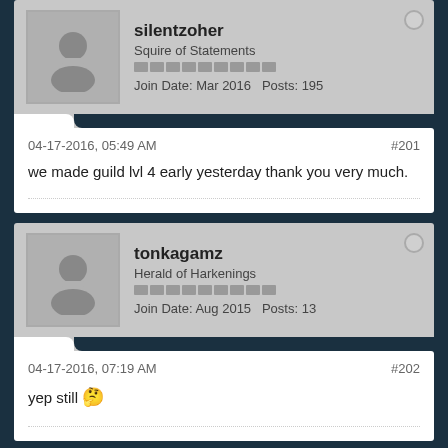silentzoher
Squire of Statements
Join Date: Mar 2016  Posts: 195
04-17-2016, 05:49 AM
#201
we made guild lvl 4 early yesterday thank you very much.
tonkagamz
Herald of Harkenings
Join Date: Aug 2015  Posts: 13
04-17-2016, 07:19 AM
#202
yep still 😐
R2435384
Minstrel of Messages